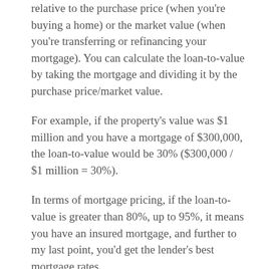relative to the purchase price (when you're buying a home) or the market value (when you're transferring or refinancing your mortgage). You can calculate the loan-to-value by taking the mortgage and dividing it by the purchase price/market value.
For example, if the property's value was $1 million and you have a mortgage of $300,000, the loan-to-value would be 30% ($300,000 / $1 million = 30%).
In terms of mortgage pricing, if the loan-to-value is greater than 80%, up to 95%, it means you have an insured mortgage, and further to my last point, you'd get the lender's best mortgage rates.
If the loan-to-value is less than 80%, generally